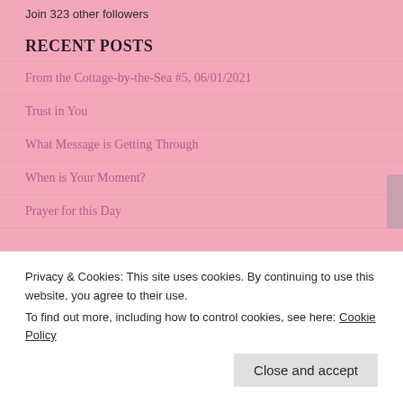Join 323 other followers
RECENT POSTS
From the Cottage-by-the-Sea #5, 06/01/2021
Trust in You
What Message is Getting Through
When is Your Moment?
Prayer for this Day
CATEGORIES
Adapting to a New Lifestyle
Privacy & Cookies: This site uses cookies. By continuing to use this website, you agree to their use.
To find out more, including how to control cookies, see here: Cookie Policy
Close and accept